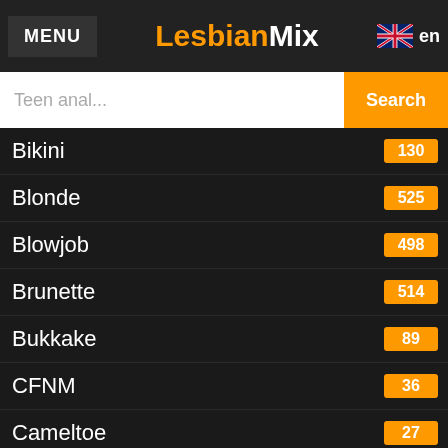MENU | LesbianMix | en
Bikini
Blonde
Blowjob
Brunette
Bukkake
CFNM
Cameltoe
Car
Cartoon
Casting
Caucasian